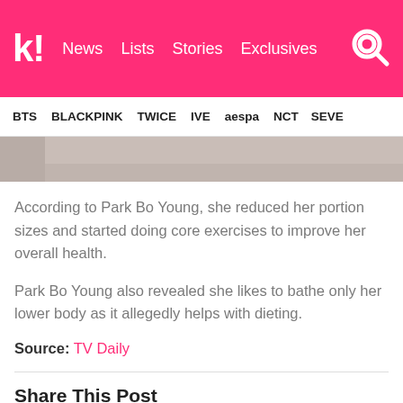k! News  Lists  Stories  Exclusives
BTS  BLACKPINK  TWICE  IVE  aespa  NCT  SEVE
[Figure (photo): Partial photo strip at top of article showing a person's lower body/midsection area]
According to Park Bo Young, she reduced her portion sizes and started doing core exercises to improve her overall health.
Park Bo Young also revealed she likes to bathe only her lower body as it allegedly helps with dieting.
Source: TV Daily
Share This Post